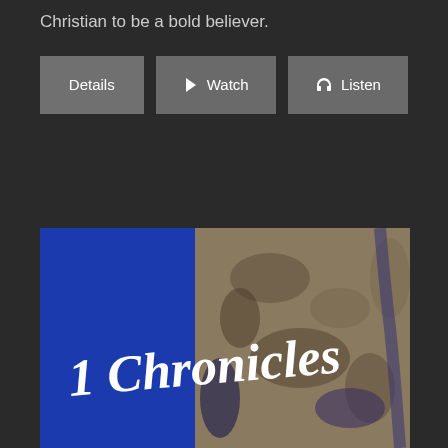Christian to be a bold believer.
[Figure (other): Three buttons: Details, Watch (with play icon), Listen (with headphones icon)]
[Figure (illustration): 1 Chronicles book cover with blue and satellite map imagery background and white script text reading '1 Chronicles']